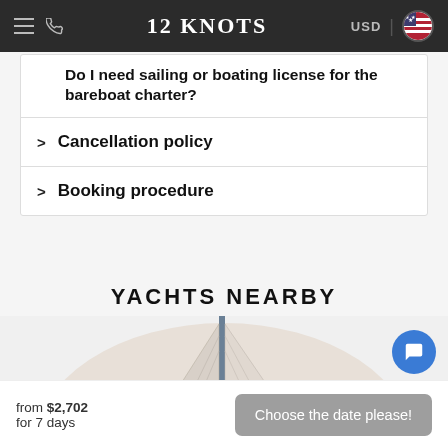12 KNOTS
> Do I need sailing or boating license for the bareboat charter?
> Cancellation policy
> Booking procedure
YACHTS NEARBY
[Figure (photo): Yacht sail photo — semicircular cropped image showing white sails against a mast]
from $2,702
for 7 days
Choose the date please!